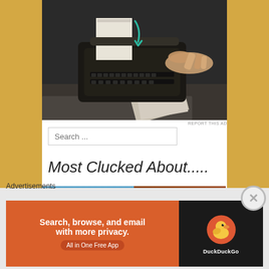[Figure (photo): Black and white photo of hands typing on a vintage typewriter with a teal/green arrow annotation overlay]
REPORT THIS AD
Search ...
Most Clucked About.....
[Figure (photo): Two thumbnail photos side by side: left shows a blue sky with clouds, right shows food items (cream puffs or pastries) on a plate]
Advertisements
[Figure (screenshot): DuckDuckGo advertisement banner: orange left section with text 'Search, browse, and email with more privacy. All in One Free App' and dark right section with DuckDuckGo duck logo]